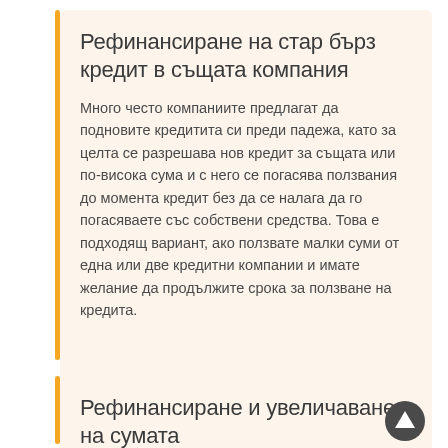Рефинансиране на стар бърз кредит в същата компания
Много често компаниите предлагат да подновите кредитита си преди падежа, като за целта се разрешава нов кредит за същата или по-висока сума и с него се погасява ползвания до момента кредит без да се налага да го погасяваете със собствени средства. Това е подходящ вариант, ако ползвате малки суми от една или две кредитни компании и имате желание да продължите срока за ползване на кредита.
Рефинансиране и увеличаване на сумата